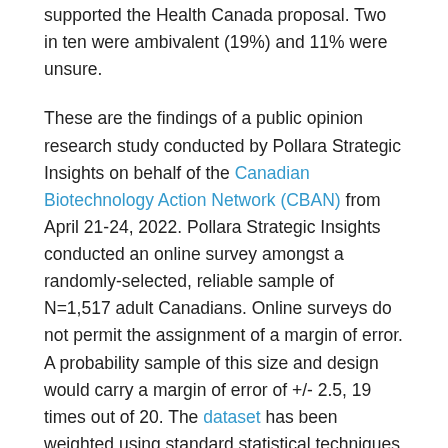supported the Health Canada proposal. Two in ten were ambivalent (19%) and 11% were unsure.
These are the findings of a public opinion research study conducted by Pollara Strategic Insights on behalf of the Canadian Biotechnology Action Network (CBAN) from April 21-24, 2022. Pollara Strategic Insights conducted an online survey amongst a randomly-selected, reliable sample of N=1,517 adult Canadians. Online surveys do not permit the assignment of a margin of error. A probability sample of this size and design would carry a margin of error of +/- 2.5, 19 times out of 20. The dataset has been weighted using standard statistical techniques to ensure that the sample accurately reflects the gender, age, and provincial distribution of the adult Canadian population according to the most recent Census.
For more information, please see the CBAN media